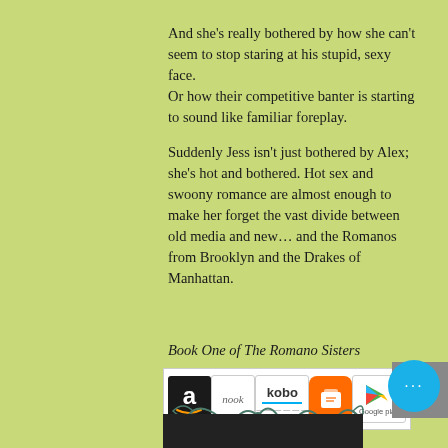And she's really bothered by how she can't seem to stop staring at his stupid, sexy face.
Or how their competitive banter is starting to sound like familiar foreplay.
Suddenly Jess isn't just bothered by Alex; she's hot and bothered. Hot sex and swoony romance are almost enough to make her forget the vast divide between old media and new… and the Romanos from Brooklyn and the Drakes of Manhattan.
Book One of The Romano Sisters
[Figure (logo): Retailer logos: Amazon, Nook, Kobo, Apple Books, Google Play]
[Figure (illustration): Decorative scrollwork ornament in dark teal/green]
[Figure (photo): Bottom partial image, dark background]